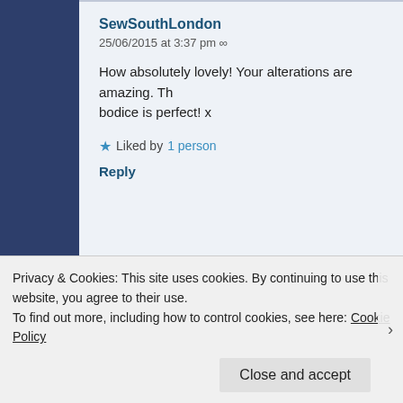[Figure (screenshot): Screenshot of a blog comment section showing two comments. First comment by SewSouthLondon dated 25/06/2015 at 3:37 pm with text about alterations. Second nested comment by Clarinda Kaleidoscope dated 25/06/2015 at 10:22 pm. A cookie consent banner overlays the bottom of the page.]
SewSouthLondon
25/06/2015 at 3:37 pm ∞
How absolutely lovely! Your alterations are amazing. Th bodice is perfect! x
Liked by 1 person
Reply
Clarinda Kaleidoscope
25/06/2015 at 10:22 pm ∞
Privacy & Cookies: This site uses cookies. By continuing to use this website, you agree to their use. To find out more, including how to control cookies, see here: Cookie Policy
Close and accept